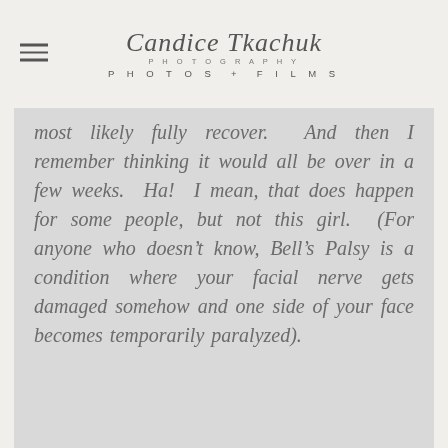Candice Tkachuk Photography — PHOTOS + FILMS
most likely fully recover. And then I remember thinking it would all be over in a few weeks. Ha! I mean, that does happen for some people, but not this girl. (For anyone who doesn't know, Bell's Palsy is a condition where your facial nerve gets damaged somehow and one side of your face becomes temporarily paralyzed).